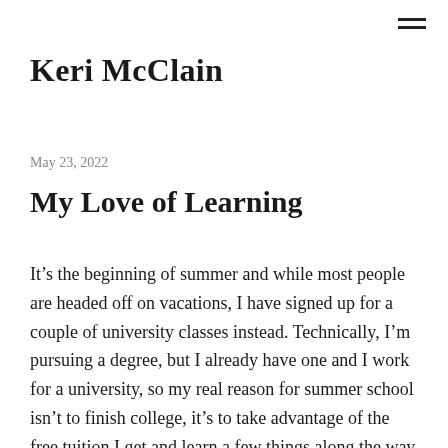Keri McClain
May 23, 2022
My Love of Learning
It’s the beginning of summer and while most people are headed off on vacations, I have signed up for a couple of university classes instead. Technically, I’m pursuing a degree, but I already have one and I work for a university, so my real reason for summer school isn’t to finish college, it’s to take advantage of the free tuition I get and learn a few things along the way. This